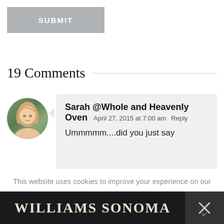[Figure (other): Grey SUBMIT button]
19 Comments
[Figure (photo): Avatar photo of Sarah, young woman with long blonde hair outdoors]
Sarah @Whole and Heavenly Oven  April 27, 2015 at 7:00 am  Reply
Ummmmm....did you just say
This website uses cookies to improve your experience on our website. Click here for more information.
[Figure (logo): Williams Sonoma advertisement banner with close button]